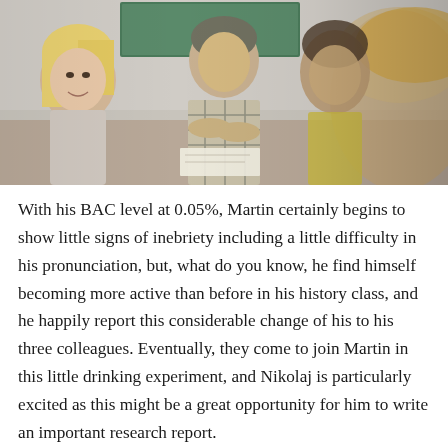[Figure (photo): A classroom scene with students and a teacher leaning over a desk, engaged in discussion. A blonde female student on the left smiles, a male teacher in a plaid shirt stands in the center, and other students are visible on the right.]
With his BAC level at 0.05%, Martin certainly begins to show little signs of inebriety including a little difficulty in his pronunciation, but, what do you know, he find himself becoming more active than before in his history class, and he happily report this considerable change of his to his three colleagues. Eventually, they come to join Martin in this little drinking experiment, and Nikolaj is particularly excited as this might be a great opportunity for him to write an important research report.